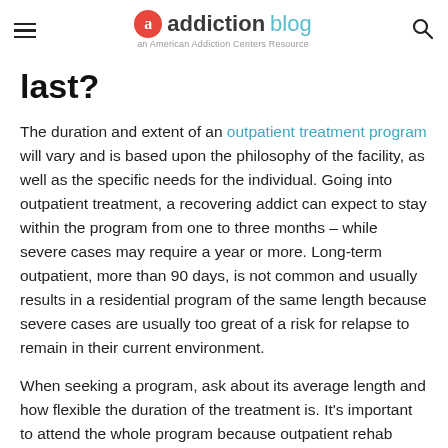addiction blog — an American Addiction Centers Resource
last?
The duration and extent of an outpatient treatment program will vary and is based upon the philosophy of the facility, as well as the specific needs for the individual. Going into outpatient treatment, a recovering addict can expect to stay within the program from one to three months – while severe cases may require a year or more. Long-term outpatient, more than 90 days, is not common and usually results in a residential program of the same length because severe cases are usually too great of a risk for relapse to remain in their current environment.
When seeking a program, ask about its average length and how flexible the duration of the treatment is. It's important to attend the whole program because outpatient rehab